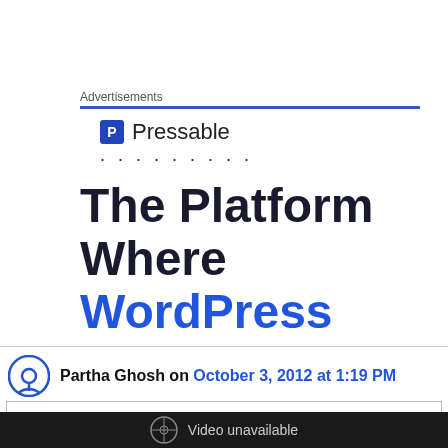Advertisements
[Figure (logo): Pressable logo with blue P icon and dots]
The Platform Where WordPress
Partha Ghosh on October 3, 2012 at 1:19 PM
Privacy & Cookies: This site uses cookies. By continuing to use this website, you agree to their use.
To find out more, including how to control cookies, see here: Cookie Policy
Close and accept
Video unavailable